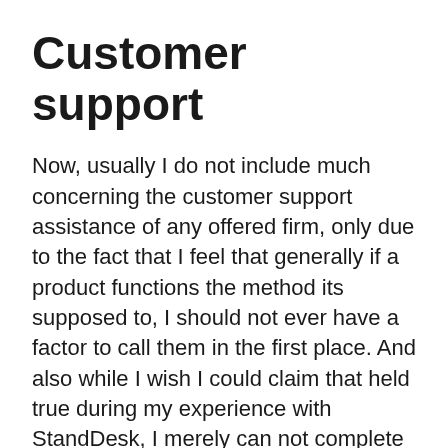Customer support
Now, usually I do not include much concerning the customer support assistance of any offered firm, only due to the fact that I feel that generally if a product functions the method its supposed to, I should not ever have a factor to call them in the first place. And also while I wish I could claim that held true during my experience with StandDesk, I merely can not complete this review without discussing the numerous, apparently endless troubles I encountered attempting to obtain my desk put together.
For starters, the desk I was sent out really